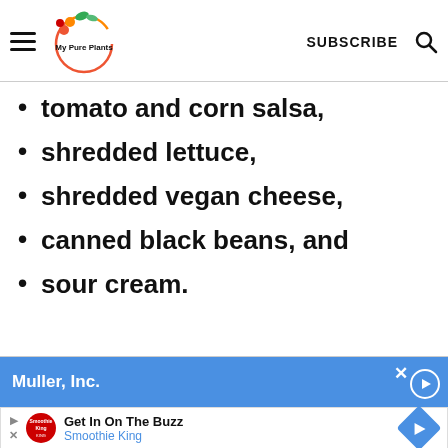My Pure Plants — SUBSCRIBE
tomato and corn salsa,
shredded lettuce,
shredded vegan cheese,
canned black beans, and
sour cream.
[Figure (screenshot): Advertisement banner: Muller Inc / Get In On The Buzz - Smoothie King]